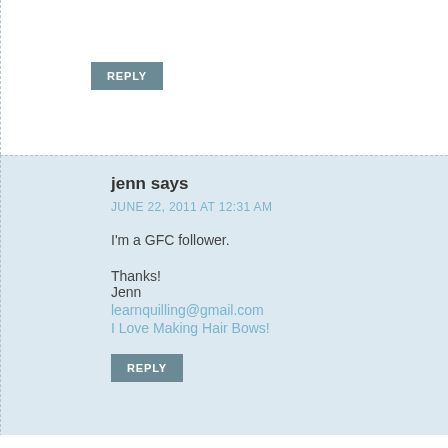REPLY
jenn says
JUNE 22, 2011 AT 12:31 AM
I'm a GFC follower.

Thanks!
Jenn
learnquilling@gmail.com
I Love Making Hair Bows!
REPLY